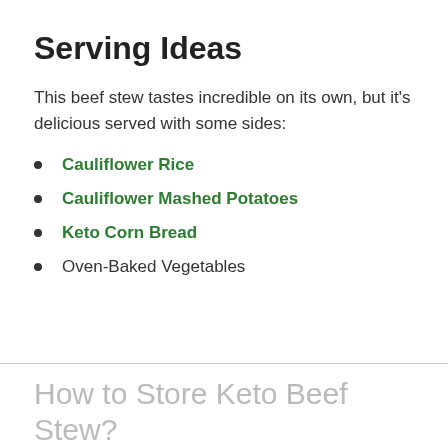Serving Ideas
This beef stew tastes incredible on its own, but it's delicious served with some sides:
Cauliflower Rice
Cauliflower Mashed Potatoes
Keto Corn Bread
Oven-Baked Vegetables
How to Store Keto Beef Stew?